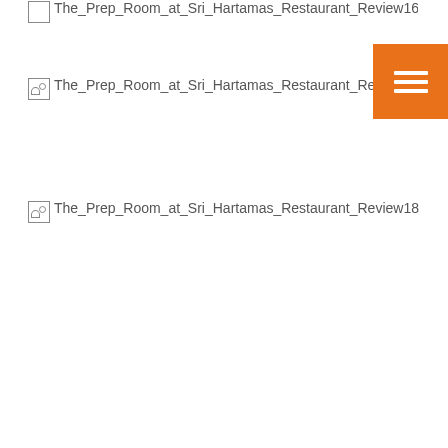[Figure (screenshot): Partially visible broken image placeholder with alt text 'The_Prep_Room_at_Sri_Hartamas_Restaurant_Review16' clipped at top of page]
[Figure (screenshot): Broken image placeholder with alt text 'The_Prep_Room_at_Sri_Hartamas_Restaurant_Review17' with orange hamburger menu button overlay in top-right corner]
[Figure (screenshot): Broken image placeholder with alt text 'The_Prep_Room_at_Sri_Hartamas_Restaurant_Review18']